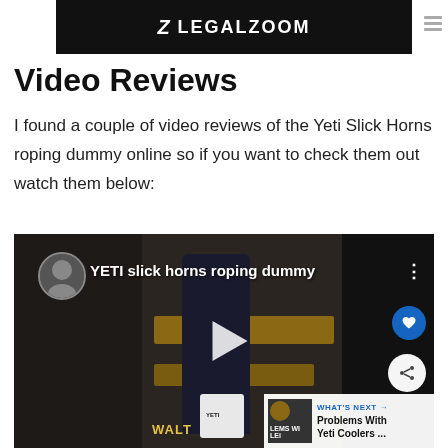[Figure (screenshot): LegalZoom banner advertisement with white text and logo on black background]
Video Reviews
I found a couple of video reviews of the Yeti Slick Horns roping dummy online so if you want to check them out watch them below:
[Figure (screenshot): YouTube video thumbnail showing a person standing in a garage with the title 'YETI slick horns roping dummy', with play button, heart and share icons, and a 'What's Next' panel showing 'Problems With Yeti Coolers ...']